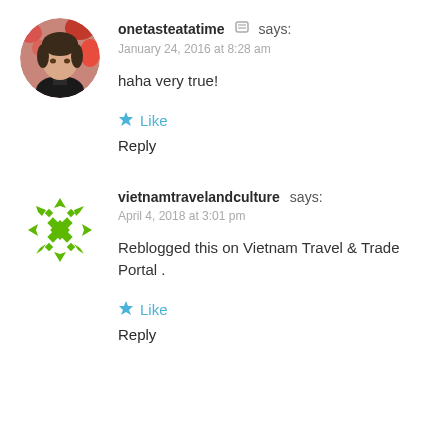[Figure (photo): Round avatar photo of a person wearing a black turtleneck with floral background]
onetasteatatime says:
January 24, 2016 at 8:28 am
haha very true!
★ Like
Reply
[Figure (logo): Green geometric snowflake/diamond pattern avatar for vietnamtravelandculture]
vietnamtravelandculture says:
April 4, 2018 at 3:01 pm
Reblogged this on Vietnam Travel & Trade Portal .
★ Like
Reply